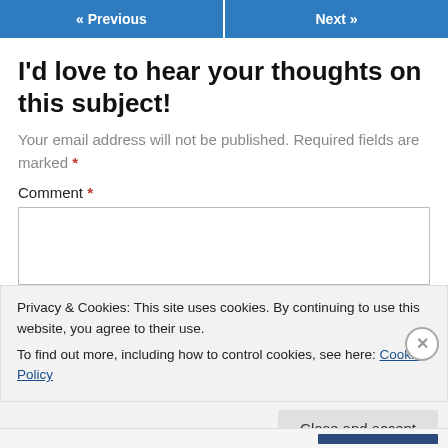« Previous   Next »
I'd love to hear your thoughts on this subject!
Your email address will not be published. Required fields are marked *
Comment *
Privacy & Cookies: This site uses cookies. By continuing to use this website, you agree to their use.
To find out more, including how to control cookies, see here: Cookie Policy
Close and accept